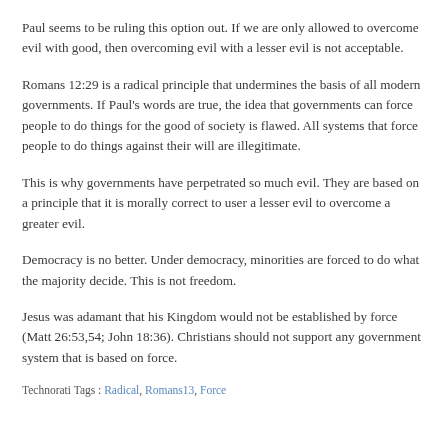Paul seems to be ruling this option out. If we are only allowed to overcome evil with good, then overcoming evil with a lesser evil is not acceptable.
Romans 12:29 is a radical principle that undermines the basis of all modern governments. If Paul's words are true, the idea that governments can force people to do things for the good of society is flawed. All systems that force people to do things against their will are illegitimate.
This is why governments have perpetrated so much evil. They are based on a principle that it is morally correct to user a lesser evil to overcome a greater evil.
Democracy is no better. Under democracy, minorities are forced to do what the majority decide. This is not freedom.
Jesus was adamant that his Kingdom would not be established by force (Matt 26:53,54; John 18:36). Christians should not support any government system that is based on force.
Technorati Tags : Radical, Romans13, Force